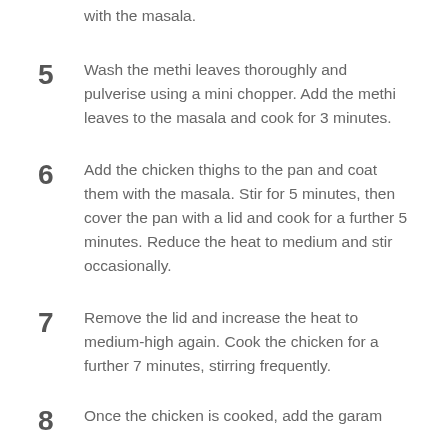with the masala.
5 Wash the methi leaves thoroughly and pulverise using a mini chopper. Add the methi leaves to the masala and cook for 3 minutes.
6 Add the chicken thighs to the pan and coat them with the masala. Stir for 5 minutes, then cover the pan with a lid and cook for a further 5 minutes. Reduce the heat to medium and stir occasionally.
7 Remove the lid and increase the heat to medium-high again. Cook the chicken for a further 7 minutes, stirring frequently.
8 Once the chicken is cooked, add the garam